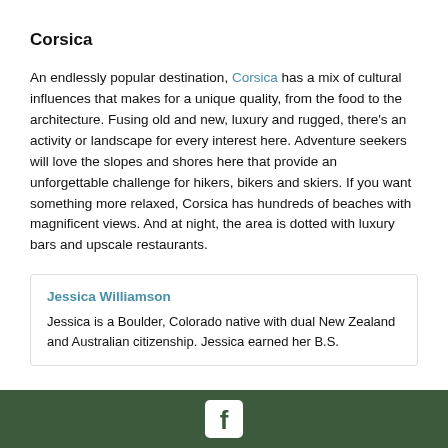Corsica
An endlessly popular destination, Corsica has a mix of cultural influences that makes for a unique quality, from the food to the architecture. Fusing old and new, luxury and rugged, there's an activity or landscape for every interest here. Adventure seekers will love the slopes and shores here that provide an unforgettable challenge for hikers, bikers and skiers. If you want something more relaxed, Corsica has hundreds of beaches with magnificent views. And at night, the area is dotted with luxury bars and upscale restaurants.
Jessica Williamson
Jessica is a Boulder, Colorado native with dual New Zealand and Australian citizenship. Jessica earned her B.S.
[Figure (logo): Facebook logo icon in white on dark green footer bar]